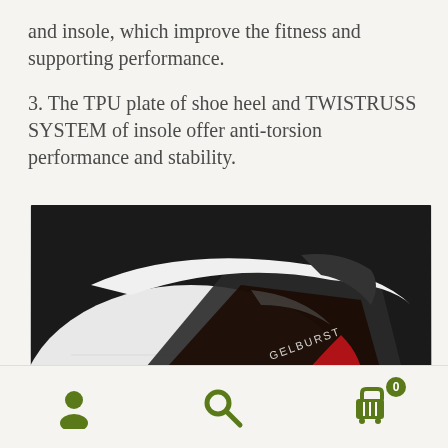and insole, which improve the fitness and supporting performance.
3. The TPU plate of shoe heel and TWISTRUSS SYSTEM of insole offer anti-torsion performance and stability.
[Figure (photo): Close-up photo of a white athletic shoe heel area showing a dark TPU plate component with red accents and GELBURST branding text, against a black background.]
User icon, Search icon, Cart icon with badge 0